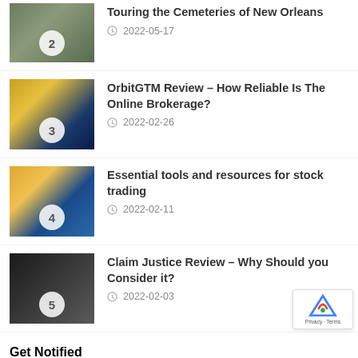Touring the Cemeteries of New Orleans — 2022-05-17
OrbitGTM Review – How Reliable Is The Online Brokerage? — 2022-02-26
Essential tools and resources for stock trading — 2022-02-11
Claim Justice Review – Why Should you Consider it? — 2022-02-03
Get Notified